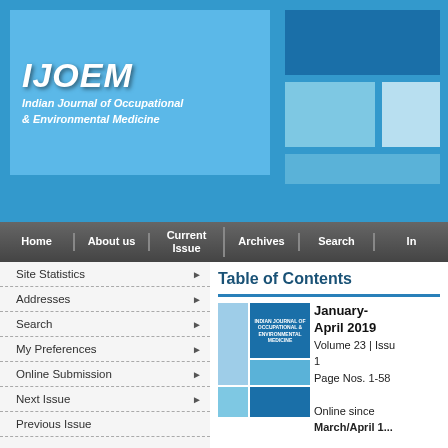[Figure (screenshot): IJOEM journal website header with logo, blue decorative blocks, and navigation bar]
Table of Contents
[Figure (screenshot): Cover image of Indian Journal of Occupational & Environmental Medicine, January-April 2019]
January-April 2019 Volume 23 | Issue 1 Page Nos. 1-58 Online since March/April 1...
Site Statistics
Addresses
Search
My Preferences
Online Submission
Next Issue
Previous Issue